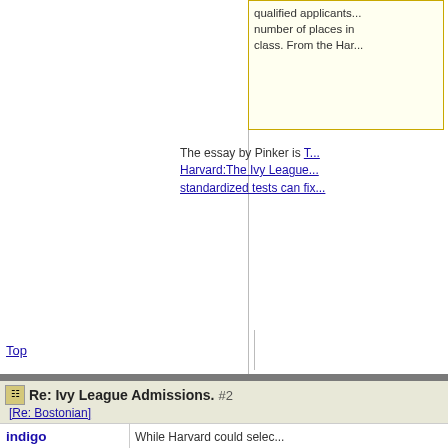qualified applicants... number of places in class. From the Har...
The essay by Pinker is The Harvard:The Ivy League... standardized tests can fix...
Top
Re: Ivy League Admissions. #2 [Re: Bostonian]
indigo
Member
Registered: 04/27/13
Posts: 4912
While Harvard could select differently, would choosing be selecting "smarter" stu...

As more students apply w... perfect score on one of the... selecting students based o... all areas might not gather... body but one which is mor... - test-focused (a test is a "..." one's knowledge base, bu... only measure... anyone ca... - high-achieving, one-dime... Amy Chua's tiger-parente... were described as having... focus on academics, piano... - high pressured, inflexible...